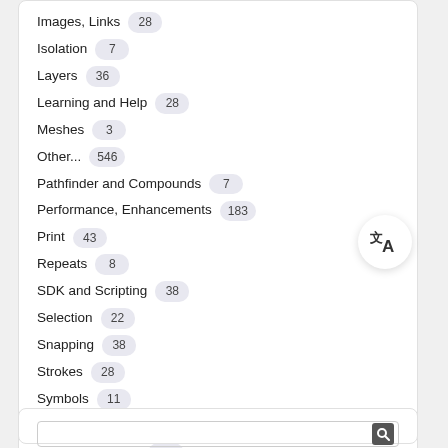Images, Links 28
Isolation 7
Layers 36
Learning and Help 28
Meshes 3
Other... 546
Pathfinder and Compounds 7
Performance, Enhancements 183
Print 43
Repeats 8
SDK and Scripting 38
Selection 22
Snapping 38
Strokes 28
Symbols 11
Tools 536
Type, Fonts, Text 360
User Interface 759